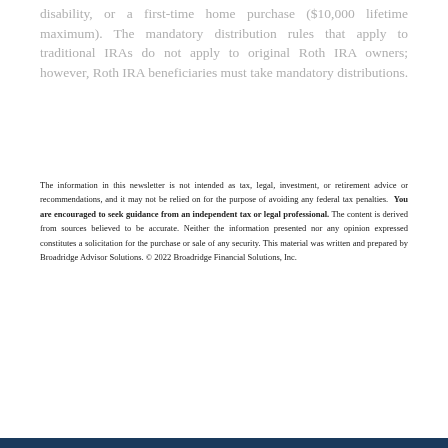disability, or a first-time home purchase ($10,000 lifetime maximum). The mandatory distribution rules that apply to traditional IRAs do not apply to original Roth IRA owners; however, Roth IRA beneficiaries must take mandatory distributions.
The information in this newsletter is not intended as tax, legal, investment, or retirement advice or recommendations, and it may not be relied on for the purpose of avoiding any federal tax penalties. You are encouraged to seek guidance from an independent tax or legal professional. The content is derived from sources believed to be accurate. Neither the information presented nor any opinion expressed constitutes a solicitation for the purchase or sale of any security. This material was written and prepared by Broadridge Advisor Solutions. © 2022 Broadridge Financial Solutions, Inc.